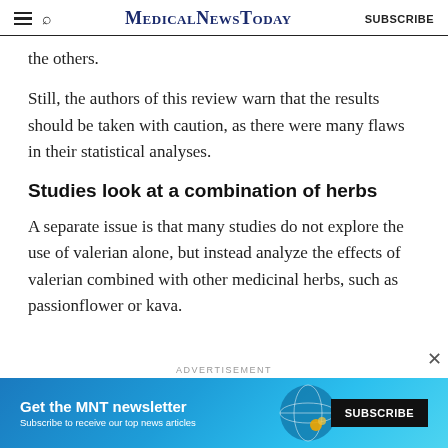MedicalNewsToday SUBSCRIBE
the others.
Still, the authors of this review warn that the results should be taken with caution, as there were many flaws in their statistical analyses.
Studies look at a combination of herbs
A separate issue is that many studies do not explore the use of valerian alone, but instead analyze the effects of valerian combined with other medicinal herbs, such as passionflower or kava.
ADVERTISEMENT
[Figure (infographic): MNT newsletter subscription advertisement banner with blue gradient background, MNT globe logo, headline 'Get the MNT newsletter', subtext 'Subscribe to receive our top news articles', and black SUBSCRIBE button.]